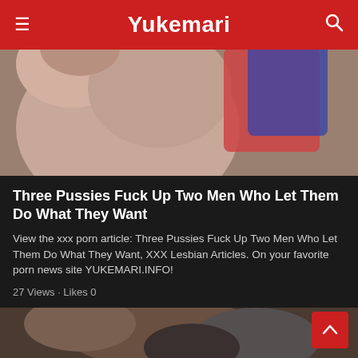Yukemari
[Figure (photo): Close-up photograph showing adult content thumbnail for article card]
Three Pussies Fuck Up Two Men Who Let Them Do What They Want
View the xxx porn article: Three Pussies Fuck Up Two Men Who Let Them Do What They Want, XXX Lesbian Articles. On your favorite porn news site YUKEMARI.INFO!
27 Views · Likes 0
[Figure (photo): Close-up photograph for second article card, partially visible at bottom of page]